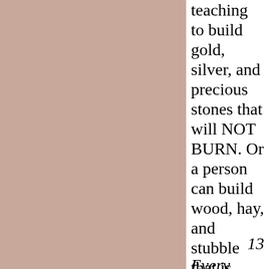teaching to build gold, silver, and precious stones that will NOT BURN. Or a person can build wood, hay, and stubble that is SURE to BURN)
13
Every